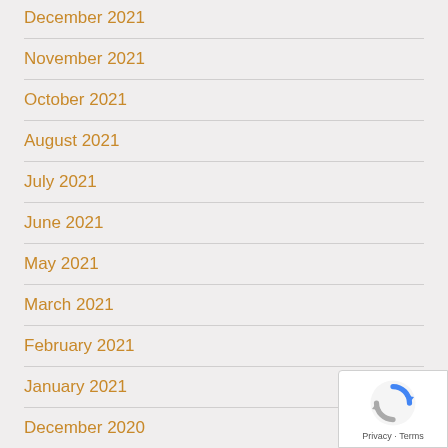December 2021
November 2021
October 2021
August 2021
July 2021
June 2021
May 2021
March 2021
February 2021
January 2021
December 2020